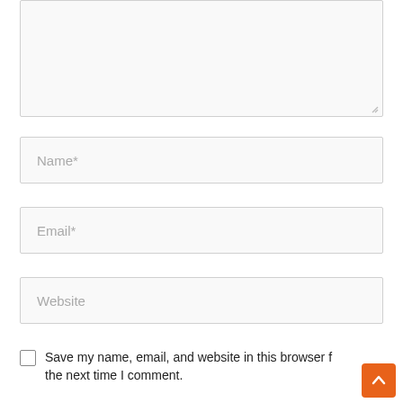[Figure (screenshot): Textarea input field (comment box), partially visible at top of page, with resize handle at bottom-right corner.]
Name*
Email*
Website
Save my name, email, and website in this browser f the next time I comment.